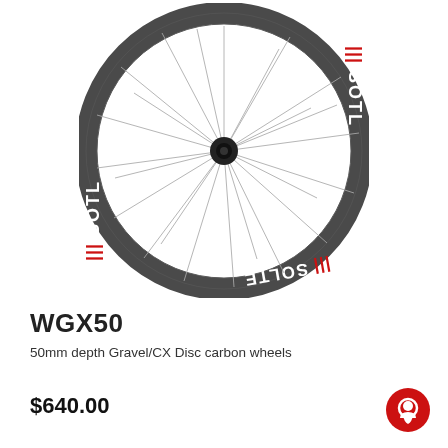[Figure (photo): Carbon bicycle wheel (WGX50) with dark gray rim, white and red BTLOS branding/logo text on the rim, silver spokes, and black hub, viewed from the front at a slight angle.]
WGX50
50mm depth Gravel/CX Disc carbon wheels
$640.00
[Figure (illustration): Red circular chat/support button icon in the bottom-right corner.]